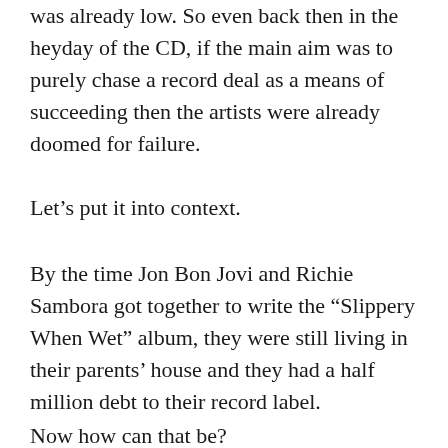was already low. So even back then in the heyday of the CD, if the main aim was to purely chase a record deal as a means of succeeding then the artists were already doomed for failure.
Let’s put it into context.
By the time Jon Bon Jovi and Richie Sambora got together to write the “Slippery When Wet” album, they were still living in their parents’ house and they had a half million debt to their record label.
Now how can that be?